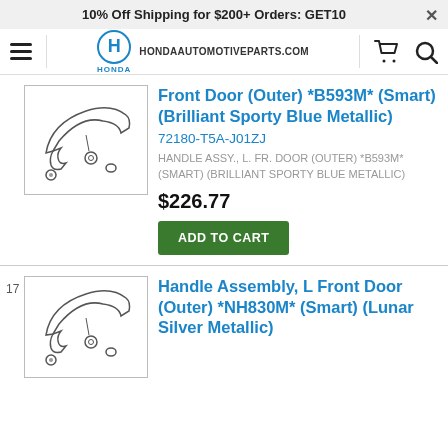10% Off Shipping for $200+ Orders: GET10
[Figure (logo): Honda automotive parts website navigation bar with hamburger menu, Honda logo, site name HONDAAUTOMOTIVEPARTS.COM, cart icon, and search icon]
[Figure (illustration): Honda door handle assembly parts diagram sketch]
Front Door (Outer) *B593M* (Smart) (Brilliant Sporty Blue Metallic)
72180-T5A-J01ZJ
HANDLE ASSY., L. FR. DOOR (OUTER) *B593M* (SMART) (BRILLIANT SPORTY BLUE METALLIC)
$226.77
ADD TO CART
[Figure (illustration): Honda door handle assembly parts diagram sketch - second item]
Handle Assembly, L Front Door (Outer) *NH830M* (Smart) (Lunar Silver Metallic)